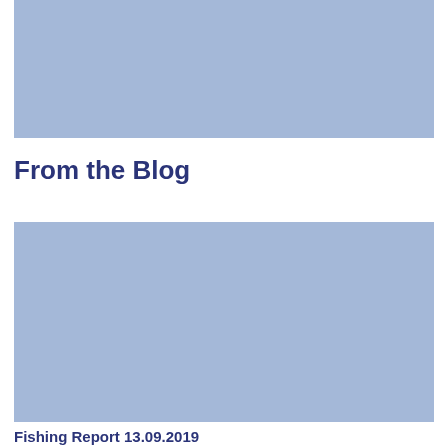[Figure (photo): Large blue-gray placeholder image block at the top of the page]
From the Blog
[Figure (photo): Large blue-gray placeholder image block below the section header]
Fishing Report 13.09.2019